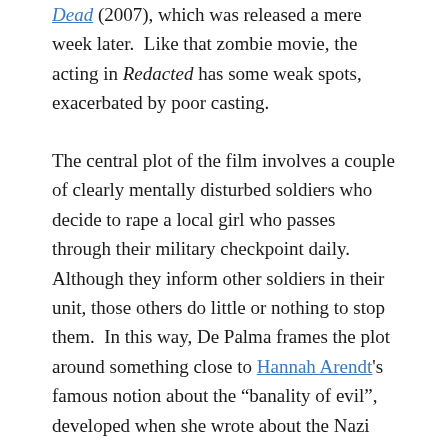Dead (2007), which was released a mere week later.  Like that zombie movie, the acting in Redacted has some weak spots, exacerbated by poor casting.
The central plot of the film involves a couple of clearly mentally disturbed soldiers who decide to rape a local girl who passes through their military checkpoint daily.  Although they inform other soldiers in their unit, those others do little or nothing to stop them.  In this way, De Palma frames the plot around something close to Hannah Arendt's famous notion about the "banality of evil", developed when she wrote about the Nazi concentration camp administrator Adolph Eichmann (Eichmann in Jerusalem: A Report on the Banality of Evil).  In a historical sense, the rape incident in Redacted resembles the My Lai Massacre from the Vietnam War, a story below after the fact being about investigative attention